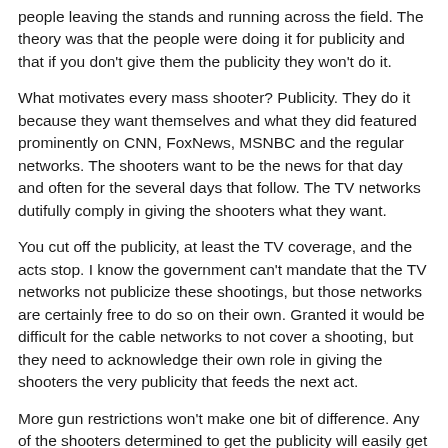people leaving the stands and running across the field.  The theory was that the people were doing it for publicity and that if you don't give them the publicity they won't do it.
What motivates every mass shooter?  Publicity.  They do it because they want themselves and what they did featured prominently on CNN, FoxNews, MSNBC and the regular networks.  The shooters want to be the news for that day and often for the several days that follow.  The TV networks dutifully comply in giving the shooters what they want.
You cut off the publicity, at least the TV coverage, and the acts stop.   I know the government can't mandate that the TV networks not publicize these shootings, but those networks are certainly free to do so on their own.  Granted it would be difficult for the cable networks to not cover a shooting, but they need to acknowledge their own role in giving the shooters the very publicity that feeds the next act.
More gun restrictions won't make one bit of difference.  Any of the shooters determined to get the publicity will easily get